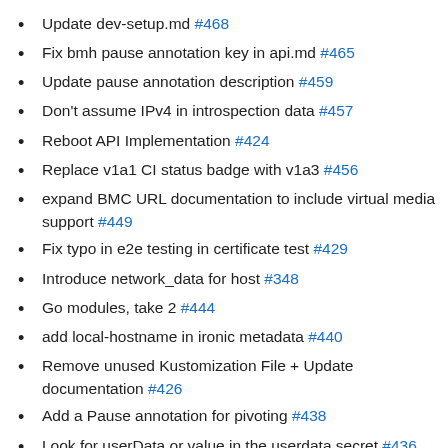Update dev-setup.md #468
Fix bmh pause annotation key in api.md #465
Update pause annotation description #459
Don't assume IPv4 in introspection data #457
Reboot API Implementation #424
Replace v1a1 CI status badge with v1a3 #456
expand BMC URL documentation to include virtual media support #449
Fix typo in e2e testing in certificate test #429
Introduce network_data for host #348
Go modules, take 2 #444
add local-hostname in ironic metadata #440
Remove unused Kustomization File + Update documentation #426
Add a Pause annotation for pivoting #438
Look for userData or value in the userdata secret #436
Avoid starting inspection twice #398
Add support to reconcile concurrently #390